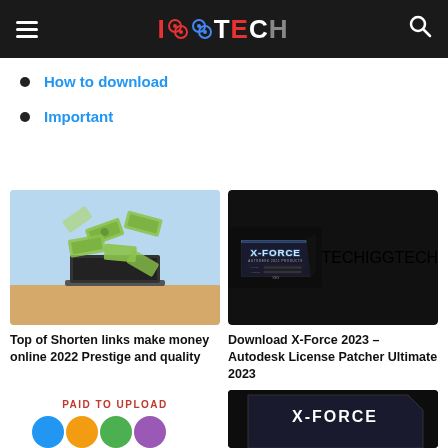IGGTECH
How to download
Important
[Figure (illustration): Money bills flying out of a laptop computer, sky background]
Top of Shorten links make money online 2022 Prestige and quality
[Figure (illustration): X-Force 2023 Autodesk License Patcher box product image on dark background]
Download X-Force 2023 – Autodesk License Patcher Ultimate 2023
[Figure (illustration): Paid to Upload promotional image with colorful icons]
[Figure (illustration): X-Force product box bottom partial view]